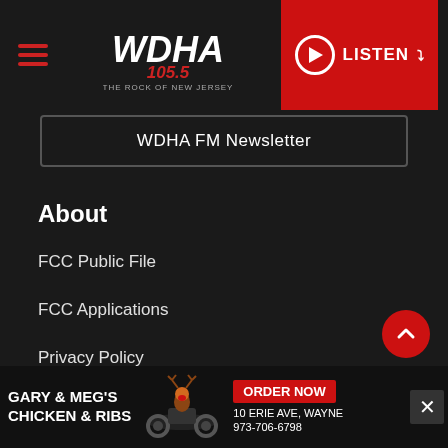WDHA 105.5 The Rock of New Jersey — LISTEN
WDHA FM Newsletter
About
FCC Public File
FCC Applications
Privacy Policy
Terms Of Service
Advertiser's Terms & Conditions
DMCA
[Figure (infographic): Advertisement banner for Gary & Meg's Chicken & Ribs with ORDER NOW button, 10 Erie Ave, Wayne, 973-706-6798, with reindeer on motorcycle graphic]